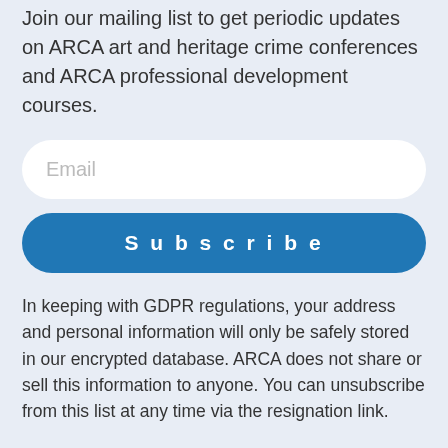Join our mailing list to get periodic updates on ARCA art and heritage crime conferences and ARCA professional development courses.
Email
Subscribe
In keeping with GDPR regulations, your address and personal information will only be safely stored in our encrypted database. ARCA does not share or sell this information to anyone. You can unsubscribe from this list at any time via the resignation link.